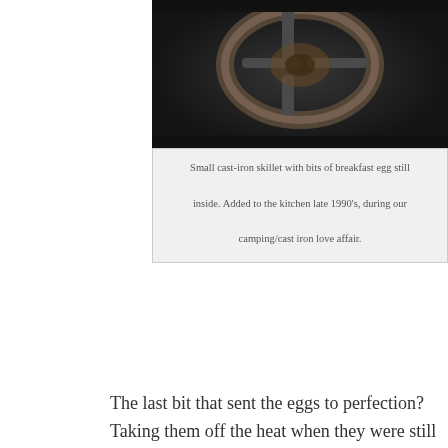[Figure (photo): Close-up photo of a cast-iron skillet burner grate on a stove, showing rust and residue, dark tones]
Small cast-iron skillet with bits of breakfast egg still inside. Added to the kitchen late 1990's, during our camping/cast iron love affair.
The last bit that sent the eggs to perfection? Taking them off the heat when they were still just a little bit shiny. I'd been so used to cooking them until they were dull that it never occurred to me that I was over-cooking them. The first time I served the eggs that way, my oldest son and I had an epiphany over them.
“Good eggs,” he muttered.
“Oh yeah,” I answered back. (Our epiphanies aren’t